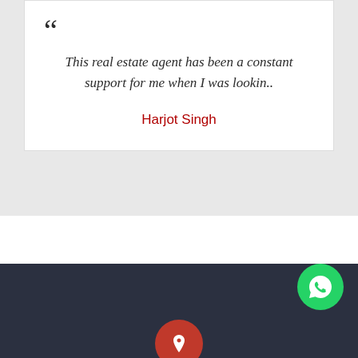This real estate agent has been a constant support for me when I was lookin..
Harjot Singh
View All